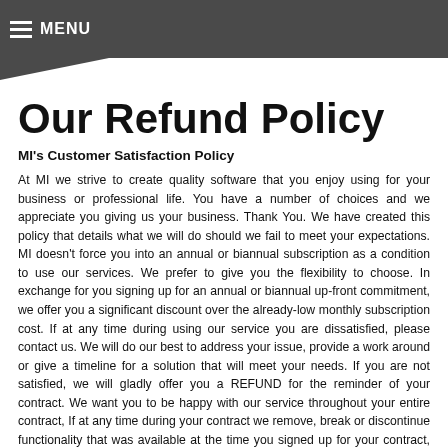MENU
Our Refund Policy
MI's Customer Satisfaction Policy
At MI we strive to create quality software that you enjoy using for your business or professional life. You have a number of choices and we appreciate you giving us your business. Thank You. We have created this policy that details what we will do should we fail to meet your expectations. MI doesn't force you into an annual or biannual subscription as a condition to use our services. We prefer to give you the flexibility to choose. In exchange for you signing up for an annual or biannual up-front commitment, we offer you a significant discount over the already-low monthly subscription cost. If at any time during using our service you are dissatisfied, please contact us. We will do our best to address your issue, provide a work around or give a timeline for a solution that will meet your needs. If you are not satisfied, we will gladly offer you a REFUND for the reminder of your contract. We want you to be happy with our service throughout your entire contract, If at any time during your contract we remove, break or discontinue functionality that was available at the time you signed up for your contract, we ask you to notify us immediately. If we fail to address it on a timely